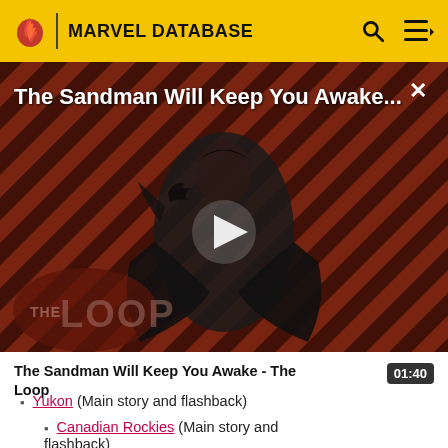MARVEL DATABASE
[Figure (screenshot): Video thumbnail showing The Sandman character in black costume against a diagonal striped dark red/maroon background, with THE LOOP watermark in the lower left. White play button triangle in center. Title overlay reads 'The Sandman Will Keep You Awake...']
The Sandman Will Keep You Awake - The Loop
Yukon (Main story and flashback)
Canadian Rockies (Main story and flashback)